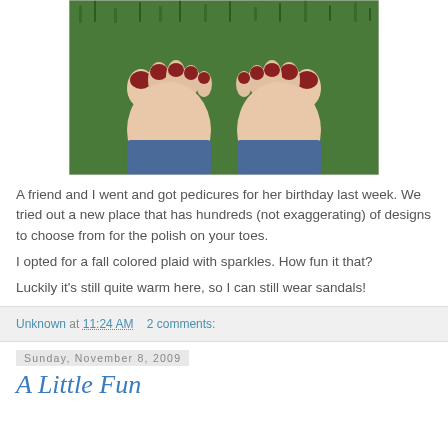[Figure (photo): Top-down view of two bare feet with painted toenails standing on green grass, person wearing blue jeans, toenails painted dark red/maroon color]
A friend and I went and got pedicures for her birthday last week. We tried out a new place that has hundreds (not exaggerating) of designs to choose from for the polish on your toes.
I opted for a fall colored plaid with sparkles. How fun it that?
Luckily it's still quite warm here, so I can still wear sandals!
Unknown at 11:24 AM   2 comments:
Sunday, November 8, 2009
A Little Fun